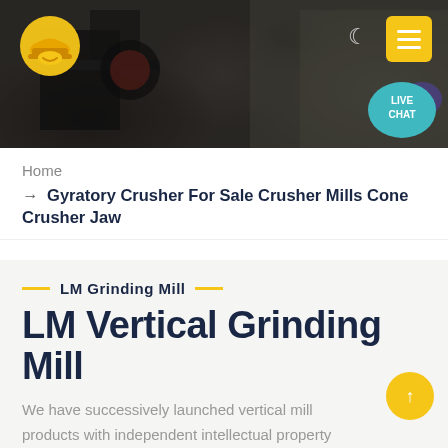[Figure (photo): Header background photo of a mining/quarry crusher facility with heavy machinery against a rocky wall, overlaid with dark tint. Contains a yellow/orange construction helmet logo on the left, a moon icon and yellow hamburger menu button on the top right, and a teal 'LIVE CHAT' speech bubble on the right side.]
Home
→ Gyratory Crusher For Sale Crusher Mills Cone Crusher Jaw
LM Grinding Mill
LM Vertical Grinding Mill
We have successively launched vertical mill products with independent intellectual property rights. Product Features: Integration of multiple functions, more stable and reliable